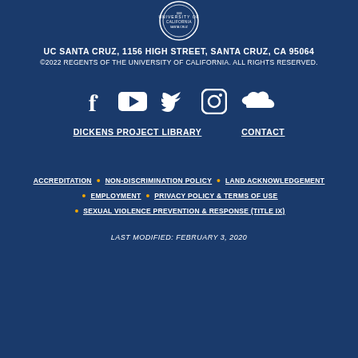[Figure (logo): UC Santa Cruz circular seal/logo in white]
UC SANTA CRUZ, 1156 HIGH STREET, SANTA CRUZ, CA 95064
©2022 REGENTS OF THE UNIVERSITY OF CALIFORNIA. ALL RIGHTS RESERVED.
[Figure (other): Social media icons: Facebook, YouTube, Twitter, Instagram, SoundCloud]
DICKENS PROJECT LIBRARY    CONTACT
ACCREDITATION • NON-DISCRIMINATION POLICY • LAND ACKNOWLEDGEMENT • EMPLOYMENT • PRIVACY POLICY & TERMS OF USE • SEXUAL VIOLENCE PREVENTION & RESPONSE (TITLE IX)
LAST MODIFIED: FEBRUARY 3, 2020